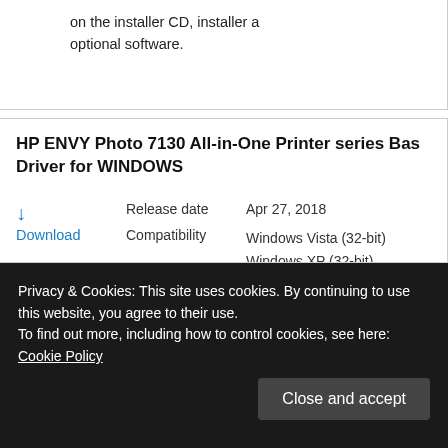on the installer CD, installer a optional software.
HP ENVY Photo 7130 All-in-One Printer series Bas Driver for WINDOWS
Release date
Apr 27, 2018
Download
Compatibility
Windows Vista (32-bit)
Windows XP (32-bit)
Windows 7 (32-bit)
Windows 8 (32-bit)
Windows 8.1 (32-bit)
Windows 10 (32-bit)
Privacy & Cookies: This site uses cookies. By continuing to use this website, you agree to their use.
To find out more, including how to control cookies, see here: Cookie Policy
Close and accept